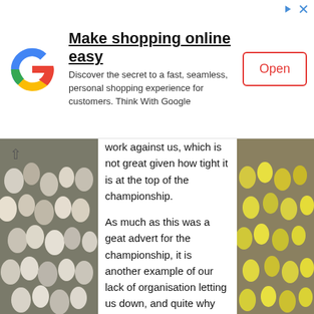[Figure (infographic): Google ad banner: Google G logo, text 'Make shopping online easy', 'Discover the secret to a fast, seamless, personal shopping experience for customers. Think With Google', and an 'Open' button with red border. Navigation icons top right.]
work against us, which is not great given how tight it is at the top of the championship.
As much as this was a geat advert for the championship, it is another example of our lack of organisation letting us down, and quite why we put Paynter on is just beyond me, the poor guy needs to build his confidence thats for sure, but If Becchio had still been on the pitch he would have a.) put that away or b.) Gone down for a penalty - as Whitbread was all over Paynter and he would have got one.
if it had been up to me I would have taken off Becchio and put someone like Lloyd Sam on and told him to push up and
[Figure (photo): Crowd of football fans, mostly in white and yellow/blue shirts, left side of page]
[Figure (photo): Crowd of football fans, mostly in yellow shirts, right side of page]